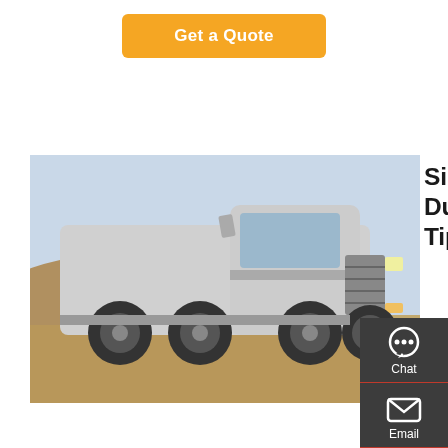[Figure (other): Orange 'Get a Quote' button at top center]
[Figure (photo): Silver Sinotruk HOWO 6x4 dump truck/tractor head parked in a desert area, seen from front-left angle]
Sinotruk 6X4 371HP HOWO Dump Truck Price 30 Ton Tipper
30 Ton Tipper Truck, 30 Ton Tipper Truck for Sale, HOWO Dump Truck Price manufacturer / supplier in China, offering Sinotruk 6X4 371HP HOWO Dump Truck Price 30 Ton Tipper Truck for Sale, Sino Truck HOWO 6-Wheeler 12000L LPG Bobtail 6 Tons LPG Bobtail with
[Figure (infographic): Dark sidebar with Chat, Email, Contact, and Top navigation icons]